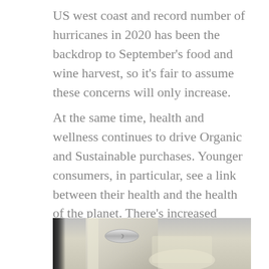US west coast and record number of hurricanes in 2020 has been the backdrop to September's food and wine harvest, so it's fair to assume these concerns will only increase.
At the same time, health and wellness continues to drive Organic and Sustainable purchases. Younger consumers, in particular, see a link between their health and the health of the planet. There's increased demand for alcoholic drinks that suit a healthier, more balanced lifestyle, and consumers are lining up behind organic brands that promise clean, pure, additive-free alternatives.
[Figure (photo): Close-up photo of a wine bottle with a silver band/ring and a glass, on a light surface, partially cropped at bottom of page.]